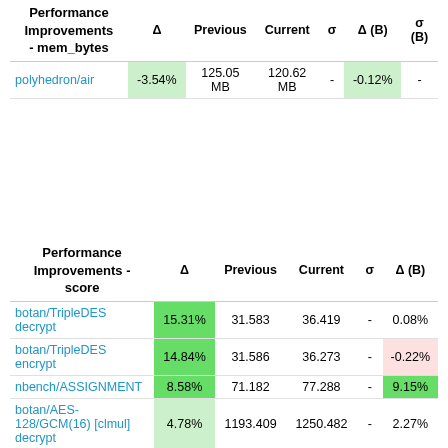| Performance Improvements - mem_bytes | Δ | Previous | Current | σ | Δ (B) | σ (B) |
| --- | --- | --- | --- | --- | --- | --- |
| polyhedron/air | -3.54% | 125.05 MB | 120.62 MB | - | -0.12% | - |
| Performance Improvements - score | Δ | Previous | Current | σ | Δ (B) |
| --- | --- | --- | --- | --- | --- |
| botan/TripleDES decrypt | 15.31% | 31.583 | 36.419 | - | 0.08% |
| botan/TripleDES encrypt | 14.84% | 31.586 | 36.273 | - | -0.22% |
| nbench/ASSIGNMENT | 8.58% | 71.182 | 77.288 | - | 9.15% |
| botan/AES-128/GCM(16) [clmul] decrypt | 4.78% | 1193.409 | 1250.482 | - | 2.27% |
| nbench/NUMERIC SORT | 4.72% | 1678.800 | 1758.100 | - | 0.54% |